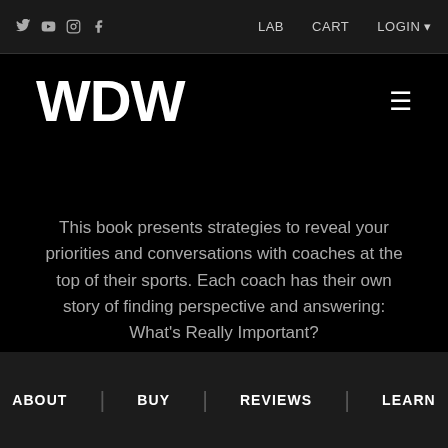Social icons: Twitter, YouTube, Instagram, Facebook | LAB | CART | LOGIN
WDW
This book presents strategies to reveal your priorities and conversations with coaches at the top of their sports. Each coach has their own story of finding perspective and answering: What's Really Important?
ABOUT | BUY | REVIEWS | LEARN